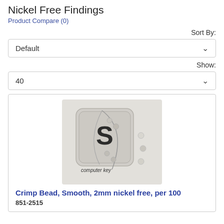Nickel Free Findings
Product Compare (0)
Sort By:
Default
Show:
40
[Figure (photo): Photo of crimp beads on a computer keyboard key prop labeled 'computer key', with beads and wire displayed]
Crimp Bead, Smooth, 2mm nickel free, per 100
851-2515